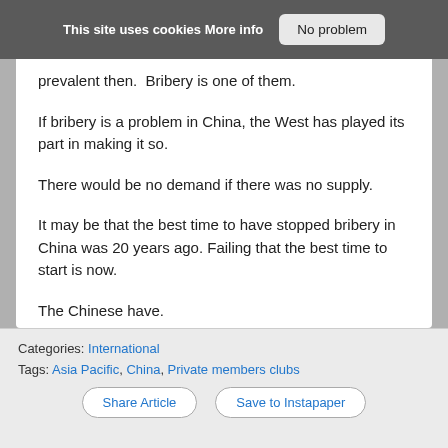This site uses cookies More info   No problem
prevalent then.  Bribery is one of them.
If bribery is a problem in China, the West has played its part in making it so.
There would be no demand if there was no supply.
It may be that the best time to have stopped bribery in China was 20 years ago. Failing that the best time to start is now.
The Chinese have.
[Figure (infographic): Share buttons row with Share label, Twitter bird icon, LinkedIn icon, and email envelope icon]
Categories: International
Tags: Asia Pacific, China, Private members clubs
Share Article   Save to Instapaper